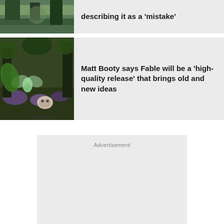[Figure (screenshot): Partial game screenshot cropped at top, showing landscape scene]
describing it as a 'mistake'
[Figure (screenshot): Game screenshot showing a fairy-like figure near a skull surrounded by colorful flora]
Matt Booty says Fable will be a 'high-quality release' that brings old and new ideas
Advertisement